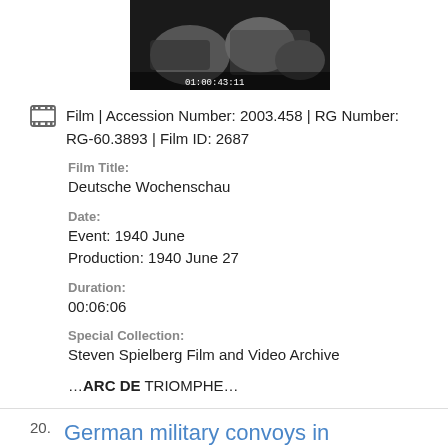[Figure (screenshot): Black and white film thumbnail showing military scene with timestamp overlay]
Film | Accession Number: 2003.458 | RG Number: RG-60.3893 | Film ID: 2687
Film Title:
Deutsche Wochenschau
Date:
Event: 1940 June
Production: 1940 June 27
Duration:
00:06:06
Special Collection:
Steven Spielberg Film and Video Archive
…ARC DE TRIOMPHE…
German military convoys in destroyed Paris
Bookmark